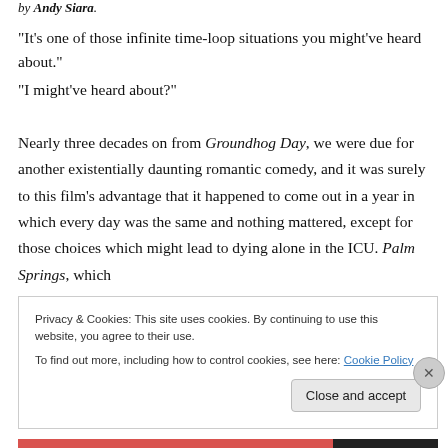by Andy Siara.
“It’s one of those infinite time-loop situations you might’ve heard about.”
“I might’ve heard about?”
Nearly three decades on from Groundhog Day, we were due for another existentially daunting romantic comedy, and it was surely to this film’s advantage that it happened to come out in a year in which every day was the same and nothing mattered, except for those choices which might lead to dying alone in the ICU. Palm Springs, which
Privacy & Cookies: This site uses cookies. By continuing to use this website, you agree to their use.
To find out more, including how to control cookies, see here: Cookie Policy
[Close and accept]